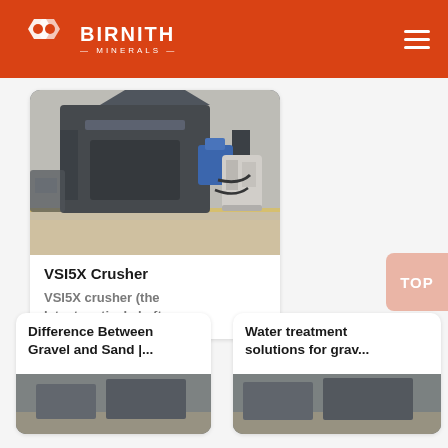BIRNITH MINERALS
[Figure (photo): VSI5X Crusher industrial machinery in a factory setting, large dark metal crushing equipment with a hydraulic unit beside it on a concrete floor.]
VSI5X Crusher
VSI5X crusher (the latest vertical shaft...
Difference Between Gravel and Sand |...
[Figure (photo): Warehouse or industrial facility interior thumbnail image.]
Water treatment solutions for grav...
[Figure (photo): Industrial facility or gravel processing plant thumbnail image.]